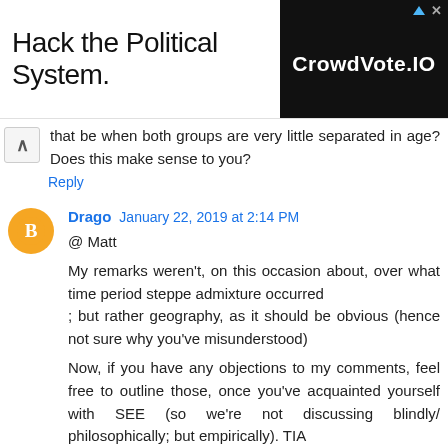[Figure (screenshot): Advertisement banner: left side shows text 'Hack the Political System.' in large font on white background; right side shows black banner with 'CrowdVote.IO' in white bold text, with a small ad indicator arrow and X at top right.]
that be when both groups are very little separated in age? Does this make sense to you?
Reply
Drago  January 22, 2019 at 2:14 PM
@ Matt
My remarks weren't, on this occasion about, over what time period steppe admixture occurred
; but rather geography, as it should be obvious (hence not sure why you've misunderstood)

Now, if you have any objections to my comments, feel free to outline those, once you've acquainted yourself with SEE (so we're not discussing blindly/ philosophically; but empirically). TIA
Reply